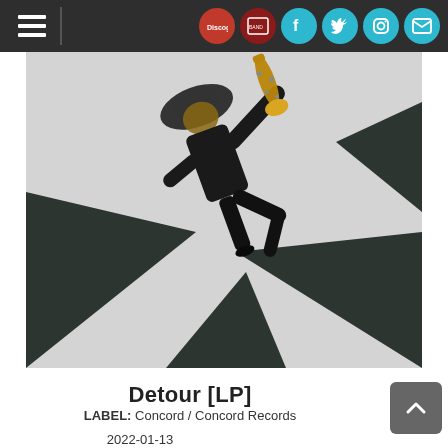Navigation bar with hamburger menu and social icons: Discogs, BandAlbum, Facebook, Twitter, Instagram, Mail
[Figure (photo): Overhead/bird's-eye view photograph of a person dressed in black suit and hat holding a gold saxophone, jumping or posing on a light grey background with large dark geometric triangular shapes.]
Detour [LP]
LABEL: Concord / Concord Records
2022-01-13